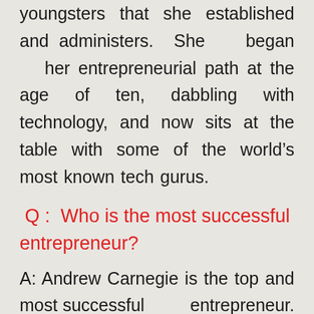youngsters that she established and administers. She began her entrepreneurial path at the age of ten, dabbling with technology, and now sits at the table with some of the world's most known tech gurus.
Q : Who is the most successful entrepreneur?
A: Andrew Carnegie is the top and most successful entrepreneur. Andrew Carnegie was an American entrepreneur